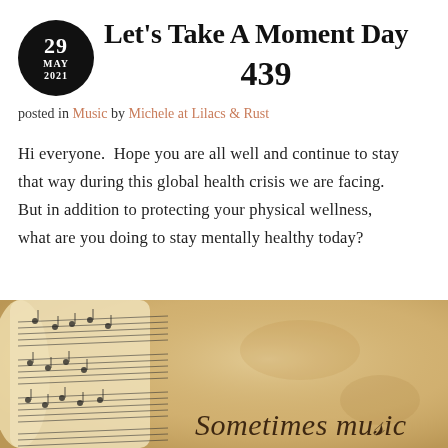Let's Take A Moment Day 439
posted in Music by Michele at Lilacs & Rust
Hi everyone.  Hope you are all well and continue to stay that way during this global health crisis we are facing.  But in addition to protecting your physical wellness, what are you doing to stay mentally healthy today?
[Figure (photo): An aged parchment scroll with handwritten musical notes, with text 'Sometimes music' visible in italic script at the bottom right]